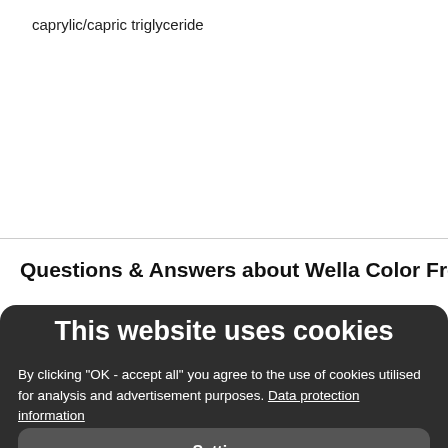caprylic/capric triglyceride
Questions & Answers about Wella Color Fresh
This website uses cookies
By clicking "OK - accept all" you agree to the use of cookies utilised for analysis and advertisement purposes. Data protection information
Settings
Reject all
Accept all